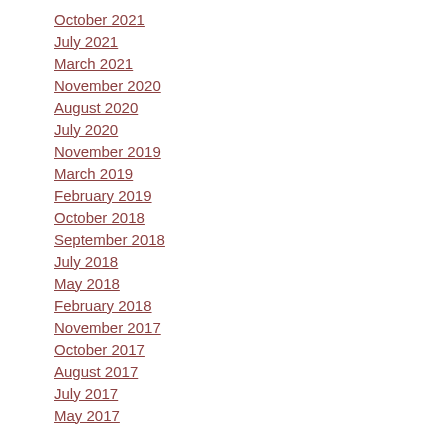October 2021
July 2021
March 2021
November 2020
August 2020
July 2020
November 2019
March 2019
February 2019
October 2018
September 2018
July 2018
May 2018
February 2018
November 2017
October 2017
August 2017
July 2017
May 2017